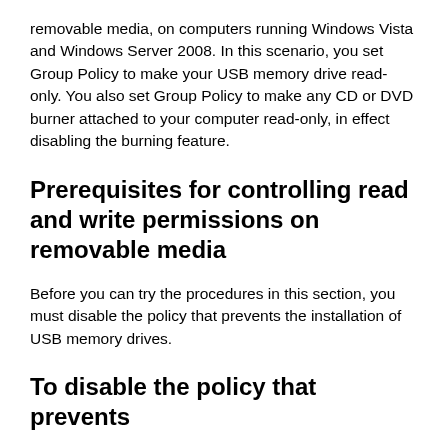removable media, on computers running Windows Vista and Windows Server 2008. In this scenario, you set Group Policy to make your USB memory drive read-only. You also set Group Policy to make any CD or DVD burner attached to your computer read-only, in effect disabling the burning feature.
Prerequisites for controlling read and write permissions on removable media
Before you can try the procedures in this section, you must disable the policy that prevents the installation of USB memory drives.
To disable the policy that prevents